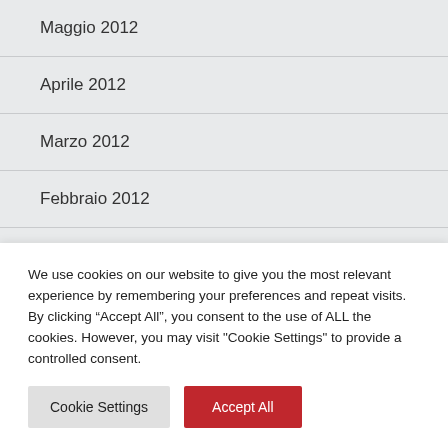Maggio 2012
Aprile 2012
Marzo 2012
Febbraio 2012
Gennaio 2012
Dicembre 2011
We use cookies on our website to give you the most relevant experience by remembering your preferences and repeat visits. By clicking “Accept All”, you consent to the use of ALL the cookies. However, you may visit "Cookie Settings" to provide a controlled consent.
Cookie Settings | Accept All